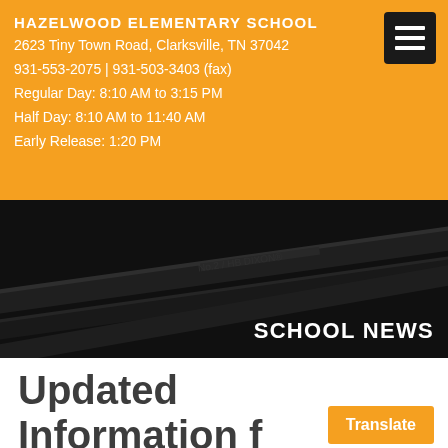HAZELWOOD ELEMENTARY SCHOOL
2623 Tiny Town Road, Clarksville, TN 37042
931-553-2075 | 931-503-3403 (fax)
Regular Day: 8:10 AM to 3:15 PM
Half Day: 8:10 AM to 11:40 AM
Early Release: 1:20 PM
[Figure (photo): Dark grayscale photo of pencils/crayons with 'SCHOOL NEWS' label overlay]
Updated Information f